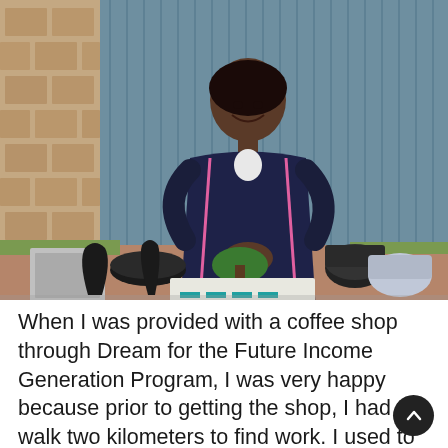[Figure (photo): A young woman smiling, seated outdoors in front of a blue corrugated metal wall and a stone/brick structure. She is wearing a dark navy tracksuit with pink trim. In front of her on the ground are various items: black bowls, pots, a plant, ceramic vessels, a tray, and other household goods displayed as if for sale. The ground is reddish-brown dirt.]
When I was provided with a coffee shop through Dream for the Future Income Generation Program, I was very happy because prior to getting the shop, I had to walk two kilometers to find work. I used to mix water, sand, and cement to paste on walls. This work